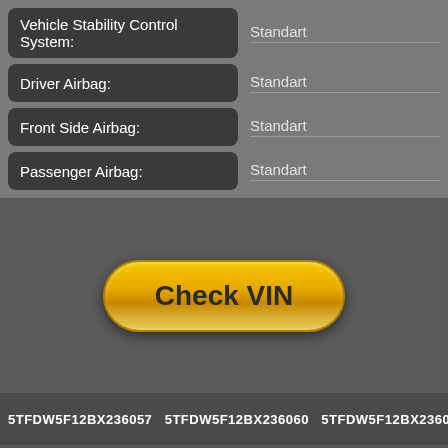Vehicle Stability Control System: Standart
Driver Airbag: Standart
Front Side Airbag: Standart
Passenger Airbag: Standart
[Figure (other): Yellow pill-shaped Check VIN button]
5TFDW5F12BX236057   5TFDW5F12BX236060   5TFDW5F12BX236074   5TF...
© KEYCARSTORY.COM 2022